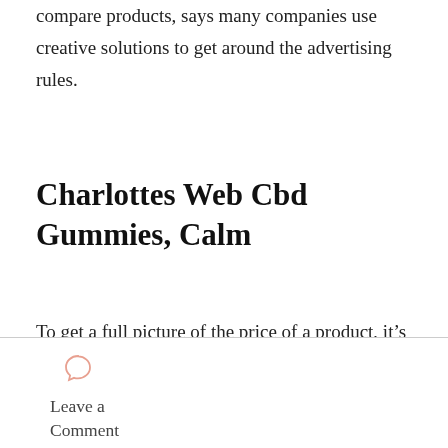compare products, says many companies use creative solutions to get around the advertising rules.
Charlottes Web Cbd Gummies, Calm
To get a full picture of the price of a product, it's important to read labels for serving sizes, amounts, strengths, and other ingredients. Design by Alexis LiraWe include products we think are useful for our readers. If you buy through links on this page, we
[Figure (illustration): Speech bubble / comment icon outline in light salmon/pink color]
Leave a Comment